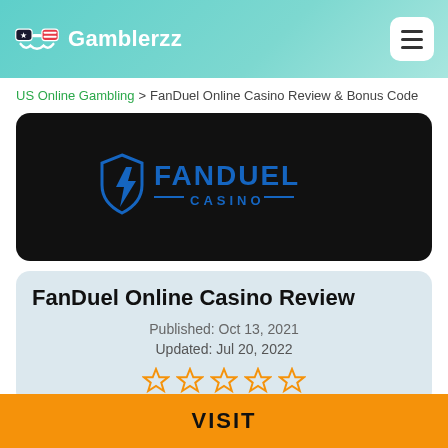Gamblerzz
US Online Gambling > FanDuel Online Casino Review & Bonus Code
[Figure (logo): FanDuel Casino logo on black background]
FanDuel Online Casino Review
Published: Oct 13, 2021
Updated: Jul 20, 2022
[Figure (other): 5 empty star rating icons in orange/outlined style]
VISIT